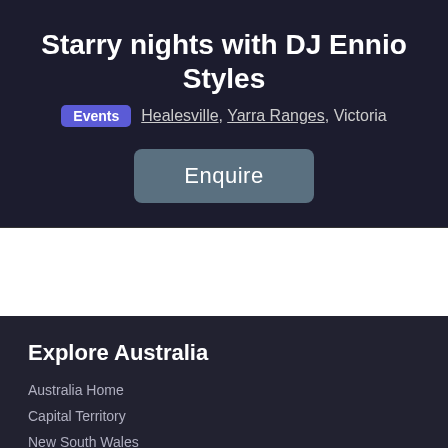Starry nights with DJ Ennio Styles
Events   Healesville, Yarra Ranges, Victoria
Enquire
Explore Australia
Australia Home
Capital Territory
New South Wales
Northern Territory
Queensland
South Australia
Tasmania
Victoria